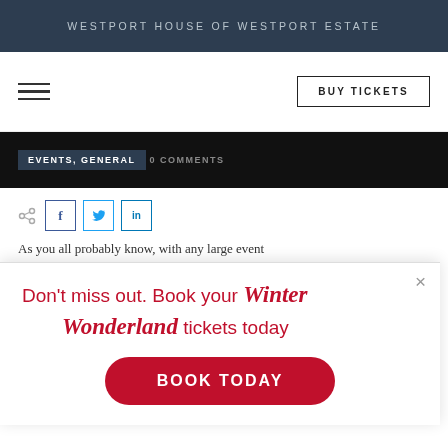WESTPORT HOUSE OF WESTPORT ESTATE
[Figure (screenshot): Navigation bar with hamburger menu icon on the left and BUY TICKETS button on the right]
EVENTS, GENERAL   0 COMMENTS
[Figure (infographic): Social share icons: share icon, Facebook, Twitter, LinkedIn]
As you all probably know, with any large event
Don't miss out. Book your Winter Wonderland tickets today
BOOK TODAY